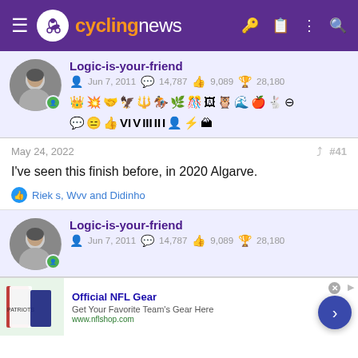cyclingnews
Logic-is-your-friend
Jun 7, 2011  14,787  9,089  28,180
May 24, 2022  #41
I've seen this finish before, in 2020 Algarve.
Riek s, Wvv and Didinho
Logic-is-your-friend
Jun 7, 2011  14,787  9,089  28,180
[Figure (screenshot): Ad banner for Official NFL Gear with jersey image]